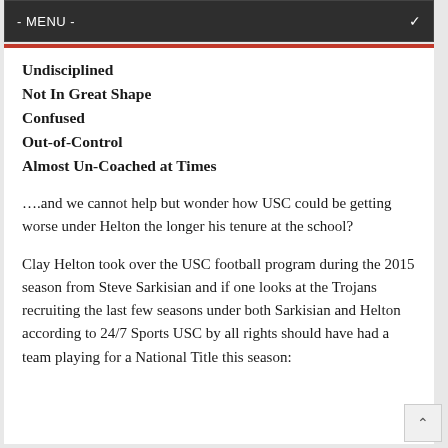- MENU -
Undisciplined
Not In Great Shape
Confused
Out-of-Control
Almost Un-Coached at Times
….and we cannot help but wonder how USC could be getting worse under Helton the longer his tenure at the school?
Clay Helton took over the USC football program during the 2015 season from Steve Sarkisian and if one looks at the Trojans recruiting the last few seasons under both Sarkisian and Helton according to 24/7 Sports USC by all rights should have had a team playing for a National Title this season: